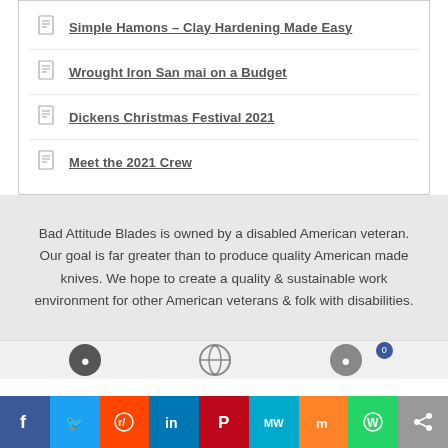Simple Hamons – Clay Hardening Made Easy
Wrought Iron San mai on a Budget
Dickens Christmas Festival 2021
Meet the 2021 Crew
Bad Attitude Blades is owned by a disabled American veteran. Our goal is far greater than to produce quality American made knives. We hope to create a quality & sustainable work environment for other American veterans & folk with disabilities.
[Figure (infographic): Social media share bar with buttons for Facebook, Twitter, Reddit, LinkedIn, Pinterest, MeWe, Mix, WhatsApp, and a share icon]